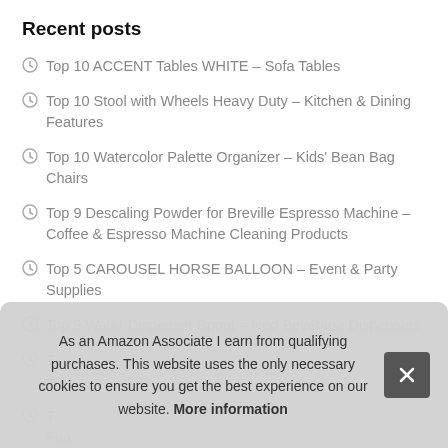Recent posts
Top 10 ACCENT Tables WHITE – Sofa Tables
Top 10 Stool with Wheels Heavy Duty – Kitchen & Dining Features
Top 10 Watercolor Palette Organizer – Kids' Bean Bag Chairs
Top 9 Descaling Powder for Breville Espresso Machine – Coffee & Espresso Machine Cleaning Products
Top 5 CAROUSEL HORSE BALLOON – Event & Party Supplies
Top 9 Water Dispenser Spout – Iced Beverage Dispensers
T… Wat…
T… Fea…
As an Amazon Associate I earn from qualifying purchases. This website uses the only necessary cookies to ensure you get the best experience on our website. More information